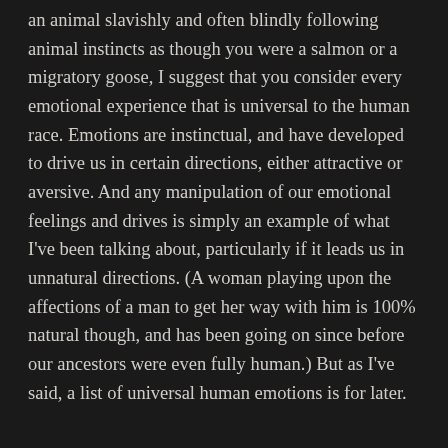an animal slavishly and often blindly following animal instincts as though you were a salmon or a migratory goose, I suggest that you consider every emotional experience that is universal to the human race. Emotions are instinctual, and have developed to drive us in certain directions, either attractive or aversive. And any manipulation of our emotional feelings and drives is simply an example of what I've been talking about, particularly if it leads us in unnatural directions. (A woman playing upon the affections of a man to get her way with him is 100% natural though, and has been going on since before our ancestors were even fully human.) But as I've said, a list of universal human emotions is for later.